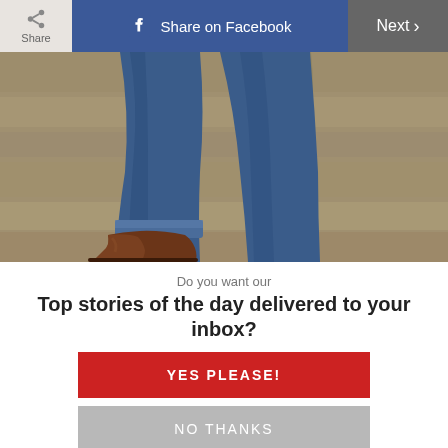[Figure (screenshot): Top navigation bar with Share button on left, Share on Facebook button in blue center, and Next button on dark gray right]
[Figure (photo): Close-up photo of a person wearing blue jeans and brown leather boots standing in front of a concrete wall]
Do you want our
Top stories of the day delivered to your inbox?
YES PLEASE!
NO THANKS